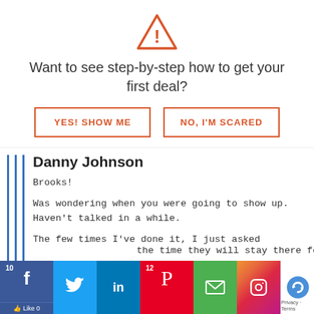[Figure (illustration): Orange warning triangle icon with exclamation mark]
Want to see step-by-step how to get your first deal?
YES! SHOW ME
NO, I'M SCARED
Danny Johnson
Brooks!
Was wondering when you were going to show up. Haven't talked in a while.
The few times I've done it, I just asked the time they will stay there for a while
[Figure (screenshot): Social sharing bar with Facebook (10 likes), Twitter, LinkedIn, Pinterest (12), Email, Instagram, and reCAPTCHA buttons]